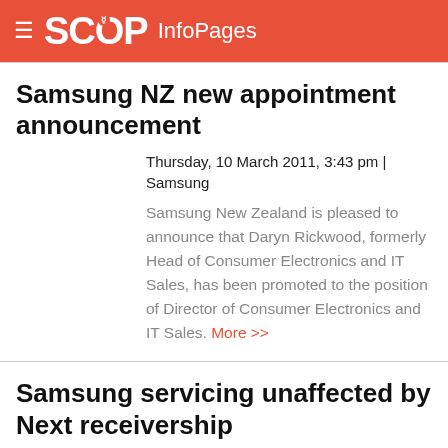SCOOP InfoPages
Samsung NZ new appointment announcement
Thursday, 10 March 2011, 3:43 pm | Samsung
Samsung New Zealand is pleased to announce that Daryn Rickwood, formerly Head of Consumer Electronics and IT Sales, has been promoted to the position of Director of Consumer Electronics and IT Sales. More >>
Samsung servicing unaffected by Next receivership